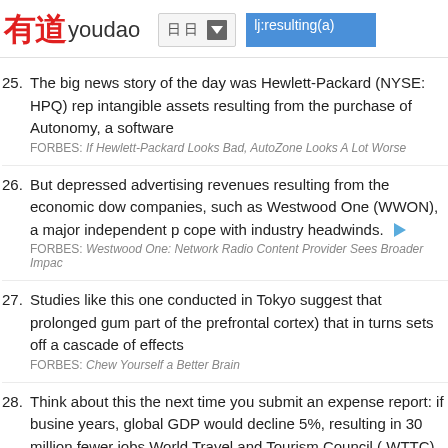有道 youdao — lj:resulting(a)
25. The big news story of the day was Hewlett-Packard (NYSE: HPQ) rep intangible assets resulting from the purchase of Autonomy, a software
FORBES: If Hewlett-Packard Looks Bad, AutoZone Looks A Lot Worse
26. But depressed advertising revenues resulting from the economic dow companies, such as Westwood One (WWON), a major independent p cope with industry headwinds.
FORBES: Westwood One: Network Radio Content Provider Sees Broader Impac
27. Studies like this one conducted in Tokyo suggest that prolonged gum part of the prefrontal cortex) that in turns sets off a cascade of effects
FORBES: Chew Yourself a Better Brain
28. Think about this the next time you submit an expense report: if busine years, global GDP would decline 5%, resulting in 30 million fewer jobs World Travel and Tourism Council ( WTTC).